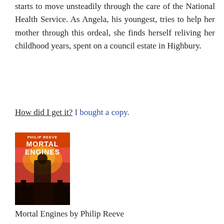starts to move unsteadily through the care of the National Health Service. As Angela, his youngest, tries to help her mother through this ordeal, she finds herself reliving her childhood years, spent on a council estate in Highbury.
How did I get it? I bought a copy.
[Figure (photo): Book cover of Mortal Engines by Philip Reeve showing a dramatic red and orange illustration]
Mortal Engines by Philip Reeve
Tom and Hester have been thrown together, literally thrown out of a city that's left them stranded and